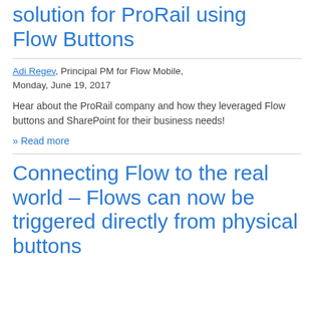solution for ProRail using Flow Buttons
Adi Regev, Principal PM for Flow Mobile, Monday, June 19, 2017
Hear about the ProRail company and how they leveraged Flow buttons and SharePoint for their business needs!
» Read more
Connecting Flow to the real world – Flows can now be triggered directly from physical buttons